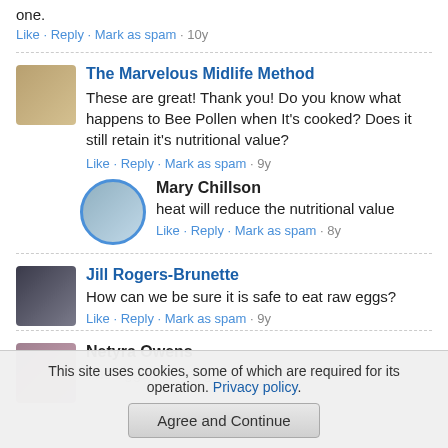one.
Like · Reply · Mark as spam · 10y
The Marvelous Midlife Method
These are great! Thank you! Do you know what happens to Bee Pollen when It's cooked? Does it still retain it's nutritional value?
Like · Reply · Mark as spam · 9y
Mary Chillson
heat will reduce the nutritional value
Like · Reply · Mark as spam · 8y
Jill Rogers-Brunette
How can we be sure it is safe to eat raw eggs?
Like · Reply · Mark as spam · 9y
Netyra Owens
This site uses cookies, some of which are required for its operation. Privacy policy.
Agree and Continue